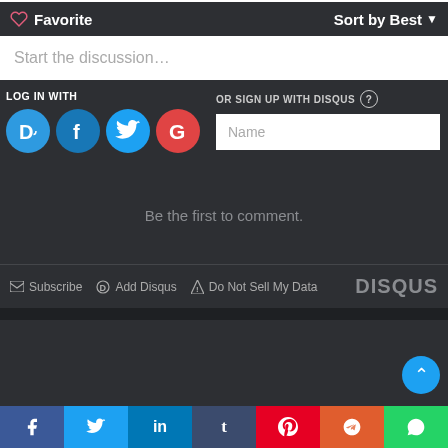Favorite
Sort by Best
Start the discussion...
LOG IN WITH
OR SIGN UP WITH DISQUS
Name
Be the first to comment.
Subscribe
Add Disqus
Do Not Sell My Data
DISQUS